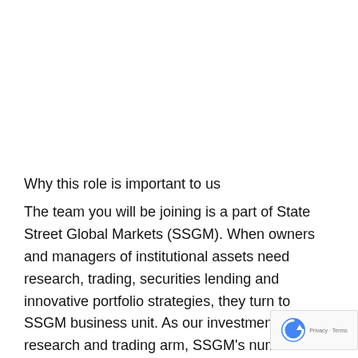Why this role is important to us
The team you will be joining is a part of State Street Global Markets (SSGM). When owners and managers of institutional assets need research, trading, securities lending and innovative portfolio strategies, they turn to SSGM business unit. As our investment research and trading arm, SSGM's number one goal is to enhance and preserve our clients' portfolio values by applying technology, optimizing trading, and linking asset classes and markets across the world.